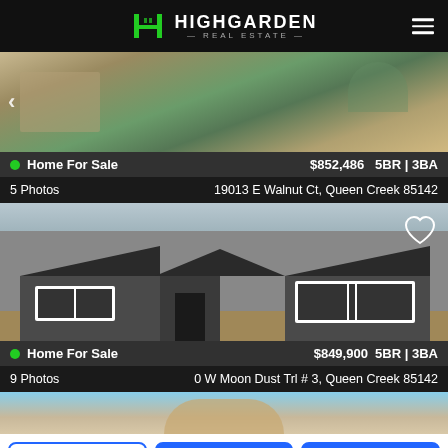HIGHGARDEN REAL ESTATE
[Figure (photo): Highgarden Real Estate logo with green H icon and white text]
[Figure (photo): Photo of a house exterior with desert landscaping - first listing thumbnail]
Home For Sale   $852,486   5BR | 3BA
5 Photos   19013 E Walnut Ct, Queen Creek 85142
[Figure (photo): Photo of new construction home exterior - dark gray stucco with dark roof tiles]
Home For Sale   $849,900   5BR | 3BA
9 Photos   0 W Moon Dust Trl # 3, Queen Creek 85142
[Figure (photo): Partial view of a third listing - tan/beige stucco home]
Call Agent
Message Agent
Schedule Tour